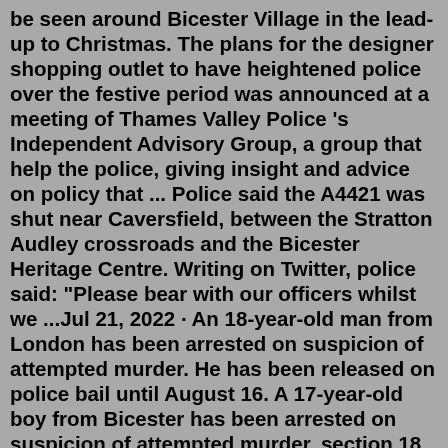be seen around Bicester Village in the lead-up to Christmas. The plans for the designer shopping outlet to have heightened police over the festive period was announced at a meeting of Thames Valley Police 's Independent Advisory Group, a group that help the police, giving insight and advice on policy that ... Police said the A4421 was shut near Caversfield, between the Stratton Audley crossroads and the Bicester Heritage Centre. Writing on Twitter, police said: "Please bear with our officers whilst we ...Jul 21, 2022 · An 18-year-old man from London has been arrested on suspicion of attempted murder. He has been released on police bail until August 16. A 17-year-old boy from Bicester has been arrested on suspicion of attempted murder, section 18 grievous bodily harm with intent, aggravated burglary and being concerned in the supply of a Class A drug. If so, please call 999 now. If you've seen or heard something you think the police ought to know about, or need to notify the police about an event, procession, film shoot, abnormal load, please use the following...